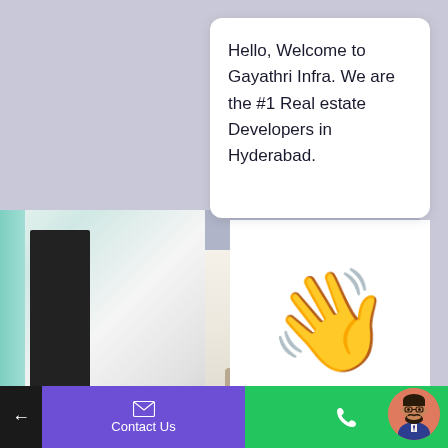[Figure (screenshot): Chat interface showing a welcome message from Gayathri Infra real estate developers with a waving hand emoji, interior property photo background, and bottom navigation bar with Contact Us and phone buttons]
Hello, Welcome to Gayathri Infra. We are the #1 Real estate Developers in Hyderabad.
[Figure (illustration): Waving hand emoji 👋 in golden yellow color]
[Figure (photo): Interior photo of a modern property/apartment]
Contact Us
[Figure (illustration): Avatar icon of a man with beard and glasses]